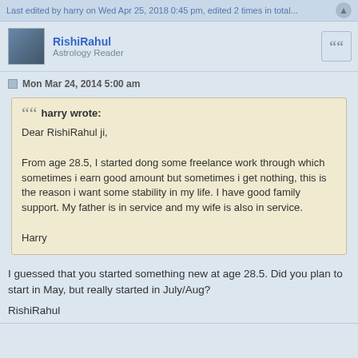Last edited by harry on Wed Apr 25, 2018 0:45 pm, edited 2 times in total...
RishiRahul
Astrology Reader
Mon Mar 24, 2014 5:00 am
harry wrote:
Dear RishiRahul ji,

From age 28.5, I started dong some freelance work through which sometimes i earn good amount but sometimes i get nothing, this is the reason i want some stability in my life. I have good family support. My father is in service and my wife is also in service.

Harry
I guessed that you started something new at age 28.5. Did you plan to start in May, but really started in July/Aug?

RishiRahul